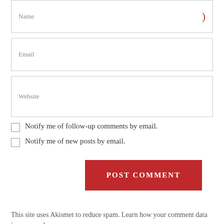Name
Email
Website
Notify me of follow-up comments by email.
Notify me of new posts by email.
POST COMMENT
This site uses Akismet to reduce spam. Learn how your comment data is processed.